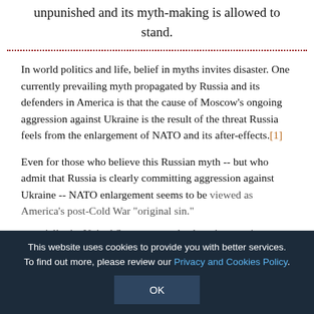unpunished and its myth-making is allowed to stand.
In world politics and life, belief in myths invites disaster. One currently prevailing myth propagated by Russia and its defenders in America is that the cause of Moscow's ongoing aggression against Ukraine is the result of the threat Russia feels from the enlargement of NATO and its after-effects.[1]
Even for those who believe this Russian myth -- but who admit that Russia is clearly committing aggression against Ukraine -- NATO enlargement seems to be viewed as America's post-Cold War "original sin." especially the United States -- went back on its promise not to expand NATO after 1989, and then proceeded to enlarge NATO and isolate Russia from Europe.
This website uses cookies to provide you with better services. To find out more, please review our Privacy and Cookies Policy.
OK